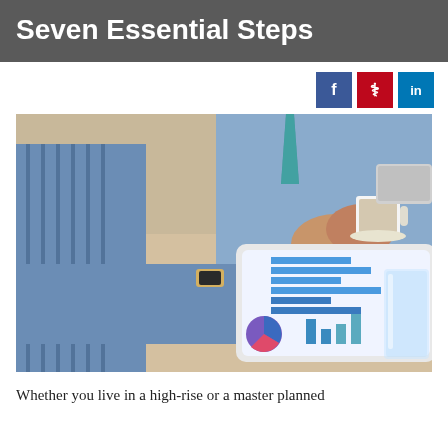Seven Essential Steps
[Figure (photo): Business people at a table, one person pointing at a tablet showing bar charts and graphs, with a coffee cup, glass of water, and laptop in the background.]
Whether you live in a high-rise or a master planned